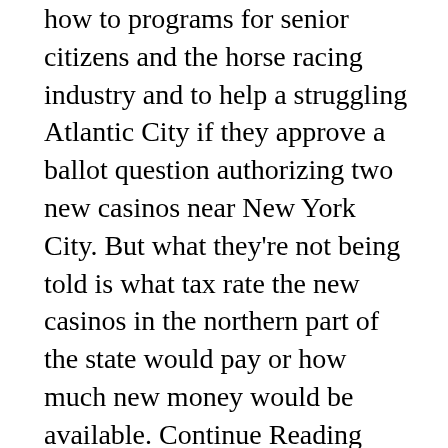how to programs for senior citizens and the horse racing industry and to help a struggling Atlantic City if they approve a ballot question authorizing two new casinos near New York City. But what they're not being told is what tax rate the new casinos in the northern part of the state would pay or how much new money would be available. Continue Reading Below On Tuesday, a state lawmaker proposed specific tax rates for the new gambling halls. Assemblyman Ralph Caputo told The Associated Press a casino at the Meadowlands Racetrack might be taxed at 35 to 40 percent while a costlier one in Jersey City could pay 15 to 20 percent. "We've lagged behind in terms of being transparent," said Caputo, a northern New Jersey Democrat and former casino worker. "There's no use kidding anybody about that. The tax rate needs to be established." The proposal came as pro- and